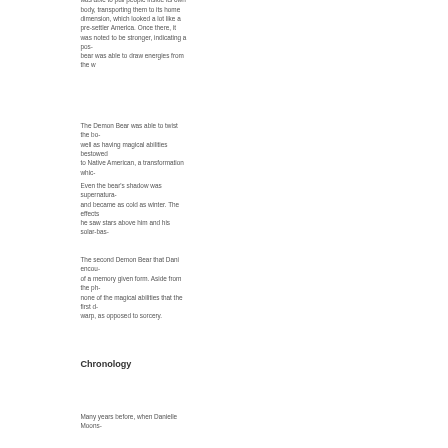was able to pull people inside its own body, transporting them to its home dimension, which looked a lot like a pre-settler America. Once there, it was noted to be stronger, indicating a pos- bear was able to draw energies from the w
The Demon Bear was able to twist the bo- well as having magical abilities bestowed to Native American, a transformation whic-
Even the bear's shadow was supernatura- and became as cold as winter. The effects he saw stars above him and his solar-bas-
The second Demon Bear that Dani encou- of a memory given form. Aside from the ph- none of the magical abilities that the first d- warp, as opposed to sorcery.
Chronology
Many years before, when Danielle Moons-